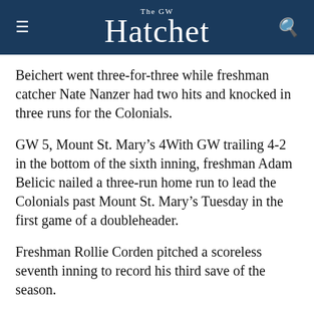The GW Hatchet
Beichert went three-for-three while freshman catcher Nate Nanzer had two hits and knocked in three runs for the Colonials.
GW 5, Mount St. Mary’s 4With GW trailing 4-2 in the bottom of the sixth inning, freshman Adam Belicic nailed a three-run home run to lead the Colonials past Mount St. Mary’s Tuesday in the first game of a doubleheader.
Freshman Rollie Corden pitched a scoreless seventh inning to record his third save of the season.
Belicio and leftfielder Ryan Hauseman each had